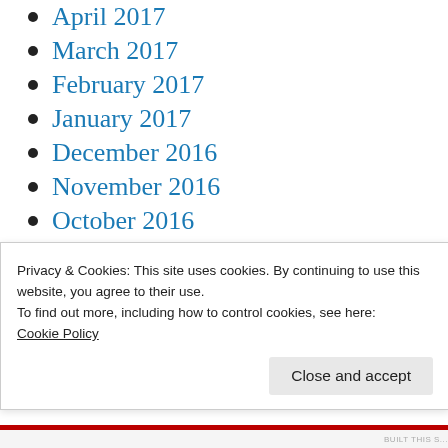April 2017
March 2017
February 2017
January 2017
December 2016
November 2016
October 2016
September 2016
August 2016
July 2016
June 2016
Privacy & Cookies: This site uses cookies. By continuing to use this website, you agree to their use.
To find out more, including how to control cookies, see here:
Cookie Policy
Close and accept